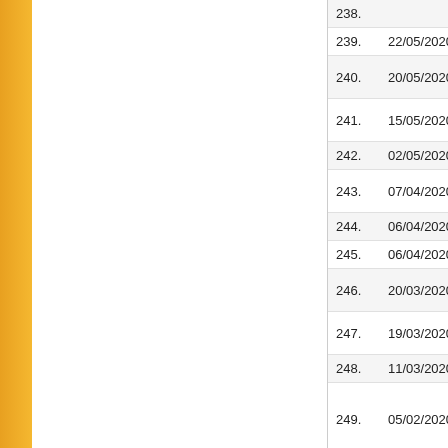| No. | Date | Title |
| --- | --- | --- |
| 238. |  | EXAMINATIO... |
| 239. | 22/05/2020 | Conduct of V... |
| 240. | 20/05/2020 | Press releas... (P.G.)-2020 |
| 241. | 15/05/2020 | Last dates fo... online |
| 242. | 02/05/2020 | Re-schedule... |
| 243. | 07/04/2020 | Online regist... Depository(N... |
| 244. | 06/04/2020 | Dates of PU-... |
| 245. | 06/04/2020 | Rescheduled... |
| 246. | 20/03/2020 | List of emplo... examinations... |
| 247. | 19/03/2020 | Examination... March 2020 |
| 248. | 11/03/2020 | PU-CET (U.G... |
| 249. | 05/02/2020 | Grant of Gol... Courses Ann... UnderGradu... Admission s... |